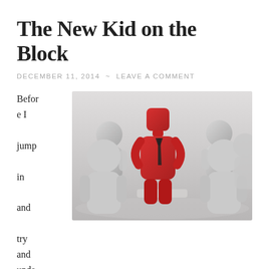The New Kid on the Block
DECEMBER 11, 2014  ~  LEAVE A COMMENT
Before I jump in and try and understand how Joshua built and managed the vast groups and teams entrusted to him I have to comment on his calling and direction from the Lord.
[Figure (illustration): A red lego-like figure with a black tie standing in the center on a pedestal, surrounded by grey lego-like figures, representing standing out from the crowd.]